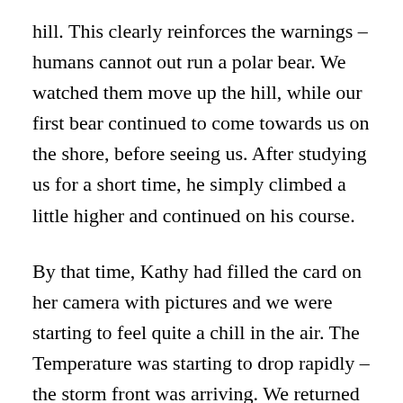hill. This clearly reinforces the warnings – humans cannot out run a polar bear. We watched them move up the hill, while our first bear continued to come towards us on the shore, before seeing us. After studying us for a short time, he simply climbed a little higher and continued on his course.
By that time, Kathy had filled the card on her camera with pictures and we were starting to feel quite a chill in the air. The Temperature was starting to drop rapidly – the storm front was arriving. We returned back to Shear Madness, passing one more PB high up on shore, bringing our total sightings to 6 (1 on Baffin Island and five today!)